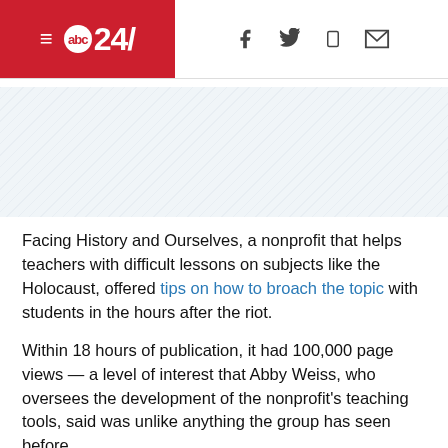abc24/ [navigation header with social icons]
[Figure (other): Diagonal striped advertisement/placeholder banner area]
Facing History and Ourselves, a nonprofit that helps teachers with difficult lessons on subjects like the Holocaust, offered tips on how to broach the topic with students in the hours after the riot.
Within 18 hours of publication, it had 100,000 page views — a level of interest that Abby Weiss, who oversees the development of the nonprofit's teaching tools, said was unlike anything the group has seen before.
In the year that has followed, Weiss said, Republican